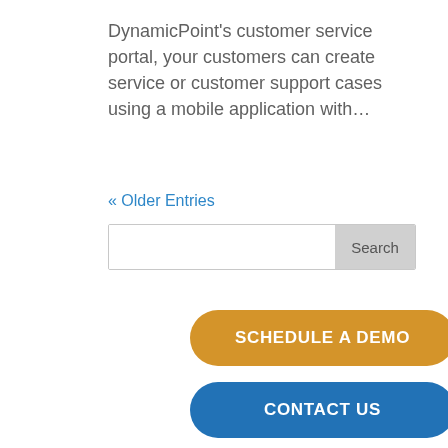DynamicPoint's customer service portal, your customers can create service or customer support cases using a mobile application with…
« Older Entries
SCHEDULE A DEMO
CONTACT US